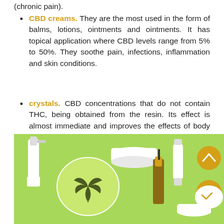(chronic pain).
CBD creams. They are the most used in the form of balms, lotions, ointments and ointments. It has topical application where CBD levels range from 5% to 50%. They soothe pain, infections, inflammation and skin conditions.
crystals. CBD concentrations that do not contain THC, being obtained from the resin. Its effect is almost immediate and improves the effects of body and mind disorders.
[Figure (photo): Photo of various CBD cosmetic products (spray bottle, cream jar, dropper bottle, tube) laid flat on a bright green background with a cannabis leaf in a petri dish. Yellow chat and scroll-up buttons visible in bottom right corner.]